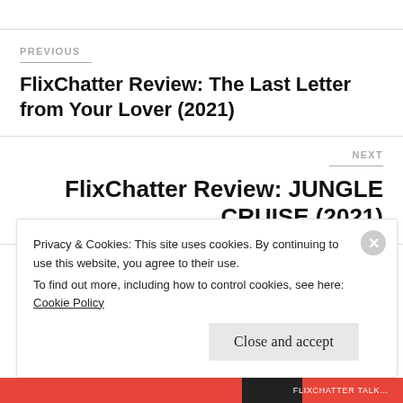PREVIOUS
FlixChatter Review: The Last Letter from Your Lover (2021)
NEXT
FlixChatter Review: JUNGLE CRUISE (2021)
Privacy & Cookies: This site uses cookies. By continuing to use this website, you agree to their use.
To find out more, including how to control cookies, see here: Cookie Policy
Close and accept